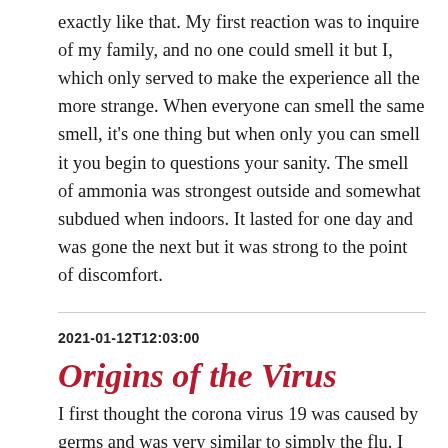exactly like that. My first reaction was to inquire of my family, and no one could smell it but I, which only served to make the experience all the more strange. When everyone can smell the same smell, it's one thing but when only you can smell it you begin to questions your sanity. The smell of ammonia was strongest outside and somewhat subdued when indoors. It lasted for one day and was gone the next but it was strong to the point of discomfort.
2021-01-12T12:03:00
Origins of the Virus
I first thought the corona virus 19 was caused by germs and was very similar to simply the flu. I have found that to be true and my opinions haven't